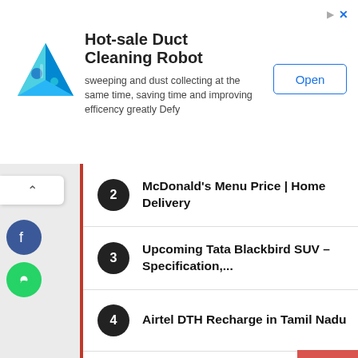[Figure (screenshot): Advertisement banner for Hot-sale Duct Cleaning Robot with logo, description text, and Open button]
Hot-sale Duct Cleaning Robot
sweeping and dust collecting at the same time, saving time and improving efficency greatly Defy
2 McDonald's Menu Price | Home Delivery
3 Upcoming Tata Blackbird SUV – Specification,...
4 Airtel DTH Recharge in Tamil Nadu
5 Starbucks in Delhi/NCR | Menu | Prices | Contact |...